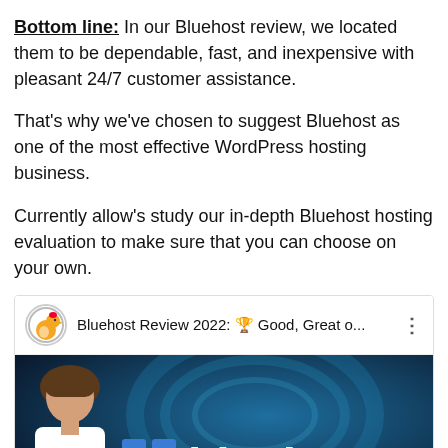Bottom line: In our Bluehost review, we located them to be dependable, fast, and inexpensive with pleasant 24/7 customer assistance.
That's why we've chosen to suggest Bluehost as one of the most effective WordPress hosting business.
Currently allow's study our in-depth Bluehost hosting evaluation to make sure that you can choose on your own.
[Figure (screenshot): YouTube video thumbnail showing 'Bluehost Review 2022: Good, Great o...' with a chicken logo icon, a person's face on the left, and the Bluehost logo (grid icon + 'blueho' text) on a dark blue background.]